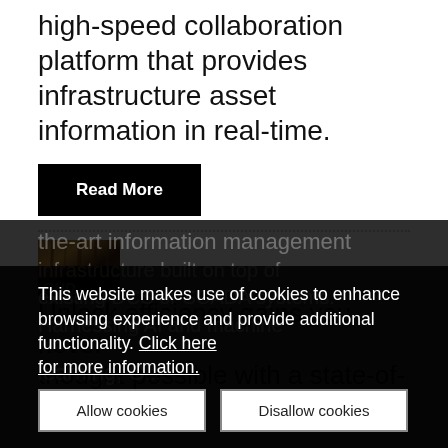high-speed collaboration platform that provides infrastructure asset information in real-time.
Read More
[Figure (photo): Thumbnail photo of industrial/infrastructure subject with partial text overlay reading 'OHD']
Unlock efficiency gains you never thought possible with a state-of-the-art information management infrastructure built on top of existing DCS or SCADA systems. Harnessing AI and machine learning, O...
This website makes use of cookies to enhance browsing experience and provide additional functionality. Click here for more information.
Allow cookies
Disallow cookies